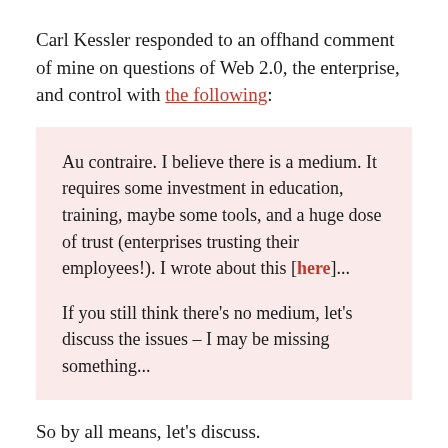Carl Kessler responded to an offhand comment of mine on questions of Web 2.0, the enterprise, and control with the following:
Au contraire. I believe there is a medium. It requires some investment in education, training, maybe some tools, and a huge dose of trust (enterprises trusting their employees!). I wrote about this [here]...

If you still think there's no medium, let's discuss the issues – I may be missing something...
So by all means, let's discuss.
The original quote that spawned all of this